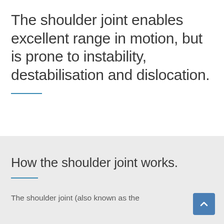The shoulder joint enables excellent range in motion, but is prone to instability, destabilisation and dislocation.
How the shoulder joint works.
The shoulder joint (also known as the